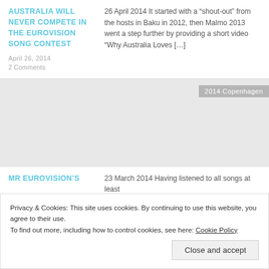AUSTRALIA WILL NEVER COMPETE IN THE EUROVISION SONG CONTEST
26 April 2014 It started with a “shout-out” from the hosts in Baku in 2012, then Malmo 2013 went a step further by providing a short video “Why Australia Loves […]
April 26, 2014
2 Comments
[Figure (photo): Gray placeholder image with tag '2014 Copenhagen']
MR EUROVISION'S
23 March 2014 Having listened to all songs at least
Privacy & Cookies: This site uses cookies. By continuing to use this website, you agree to their use.
To find out more, including how to control cookies, see here: Cookie Policy
Close and accept